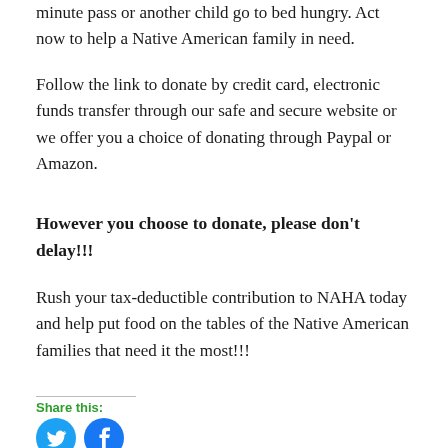minute pass or another child go to bed hungry. Act now to help a Native American family in need.
Follow the link to donate by credit card, electronic funds transfer through our safe and secure website or we offer you a choice of donating through Paypal or Amazon.
However you choose to donate, please don't delay!!!
Rush your tax-deductible contribution to NAHA today and help put food on the tables of the Native American families that need it the most!!!
Share this: